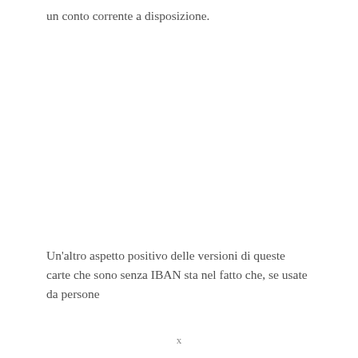un conto corrente a disposizione.
Un'altro aspetto positivo delle versioni di queste carte che sono senza IBAN sta nel fatto che, se usate da persone
x